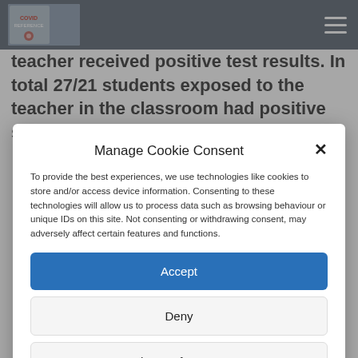COVID REFERENCE [logo/nav bar]
teacher received positive test results. In total 27/21 students exposed to the teacher in the classroom had positive serologic
Manage Cookie Consent
To provide the best experiences, we use technologies like cookies to store and/or access device information. Consenting to these technologies will allow us to process data such as browsing behaviour or unique IDs on this site. Not consenting or withdrawing consent, may adversely affect certain features and functions.
Accept
Deny
View preferences
Cookie Policy   Privacy Policy